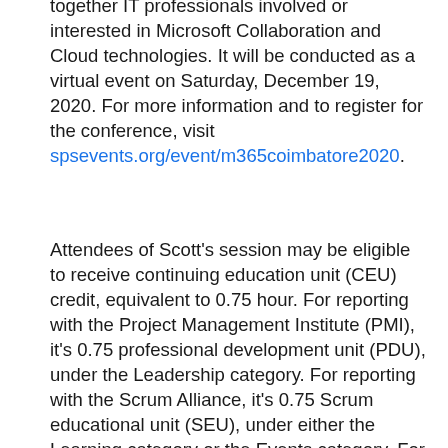together IT professionals involved or interested in Microsoft Collaboration and Cloud technologies. It will be conducted as a virtual event on Saturday, December 19, 2020. For more information and to register for the conference, visit spsevents.org/event/m365coimbatore2020.
Attendees of Scott's session may be eligible to receive continuing education unit (CEU) credit, equivalent to 0.75 hour. For reporting with the Project Management Institute (PMI), it's 0.75 professional development unit (PDU), under the Leadership category. For reporting with the Scrum Alliance, it's 0.75 Scrum educational unit (SEU), under either the Learning category or the Events category. For reporting with other organizations, refer to their respective instructions.